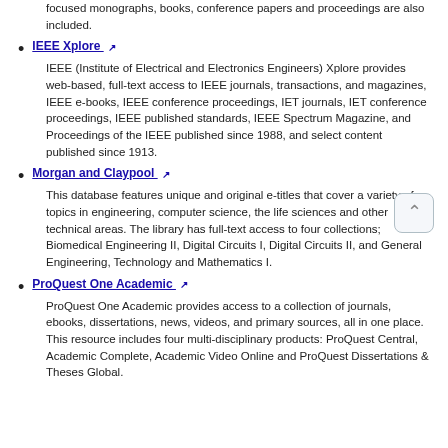focused monographs, books, conference papers and proceedings are also included.
IEEE Xplore — IEEE (Institute of Electrical and Electronics Engineers) Xplore provides web-based, full-text access to IEEE journals, transactions, and magazines, IEEE e-books, IEEE conference proceedings, IET journals, IET conference proceedings, IEEE published standards, IEEE Spectrum Magazine, and Proceedings of the IEEE published since 1988, and select content published since 1913.
Morgan and Claypool — This database features unique and original e-titles that cover a variety of topics in engineering, computer science, the life sciences and other technical areas. The library has full-text access to four collections; Biomedical Engineering II, Digital Circuits I, Digital Circuits II, and General Engineering, Technology and Mathematics I.
ProQuest One Academic — ProQuest One Academic provides access to a collection of journals, ebooks, dissertations, news, videos, and primary sources, all in one place. This resource includes four multi-disciplinary products: ProQuest Central, Academic Complete, Academic Video Online and ProQuest Dissertations & Theses Global.